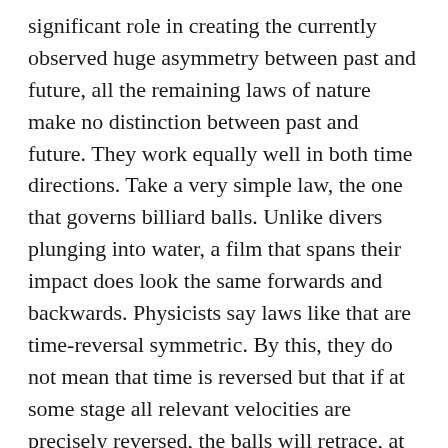significant role in creating the currently observed huge asymmetry between past and future, all the remaining laws of nature make no distinction between past and future. They work equally well in both time directions. Take a very simple law, the one that governs billiard balls. Unlike divers plunging into water, a film that spans their impact does look the same forwards and backwards. Physicists say laws like that are time-reversal symmetric. By this, they do not mean that time is reversed but that if at some stage all relevant velocities are precisely reversed, the balls will retrace, at the same speeds, the paths previously taken. More complicated is the case of charged particles in a magnetic field; the direction of the field must also be reversed along with the particle velocities if the retracing is to occur. There is an even more subtle case related to electric charges, mirror reflection, and the single fortuitous rule-breaking